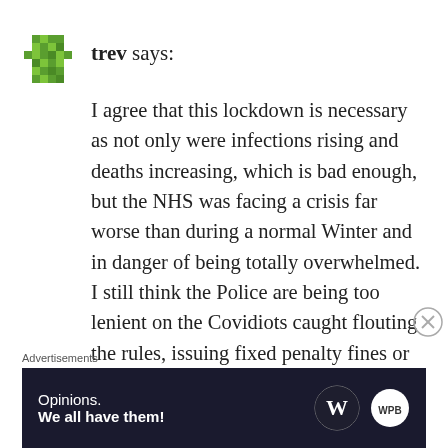trev says:
I agree that this lockdown is necessary as not only were infections rising and deaths increasing, which is bad enough, but the NHS was facing a crisis far worse than during a normal Winter and in danger of being totally overwhelmed. I still think the Police are being too lenient on the Covidiots caught flouting the rules, issuing fixed penalty fines or in some cases just
Advertisements
[Figure (screenshot): Advertisement banner: dark navy background with 'Opinions. We all have them!' text in white and WordPress/WPBeginner logos on right side.]